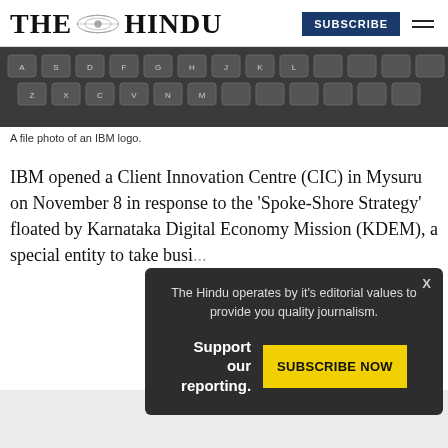THE HINDU | SUBSCRIBE
[Figure (photo): Close-up photo of a laptop keyboard, showing keys including letters and function keys in dark color.]
A file photo of an IBM logo.
IBM opened a Client Innovation Centre (CIC) in Mysuru on November 8 in response to the ‘Spoke-Shore Strategy’ floated by Karnataka Digital Economy Mission (KDEM), a special entity to take busi...
The Hindu operates by it’s editorial values to provide you quality journalism.

Support our reporting.

SUBSCRIBE NOW